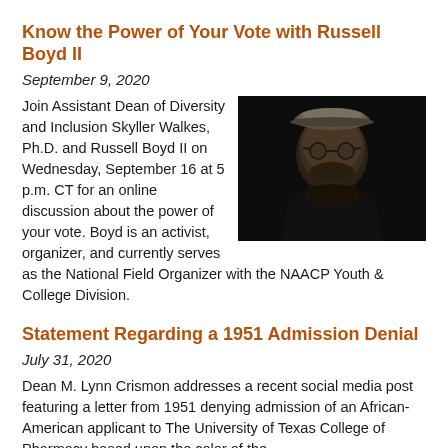Know the Power of Your Vote with Russell Boyd II
September 9, 2020
[Figure (photo): Black and white portrait photo of Russell Boyd II wearing a flat cap and glasses, against a dark background]
Join Assistant Dean of Diversity and Inclusion Skyller Walkes, Ph.D. and Russell Boyd II on Wednesday, September 16 at 5 p.m. CT for an online discussion about the power of your vote. Boyd is an activist, organizer, and currently serves as the National Field Organizer with the NAACP Youth & College Division.
Statement Regarding a 1951 Admission Denial
July 31, 2020
Dean M. Lynn Crismon addresses a recent social media post featuring a letter from 1951 denying admission of an African-American applicant to The University of Texas College of Pharmacy based upon the color of the